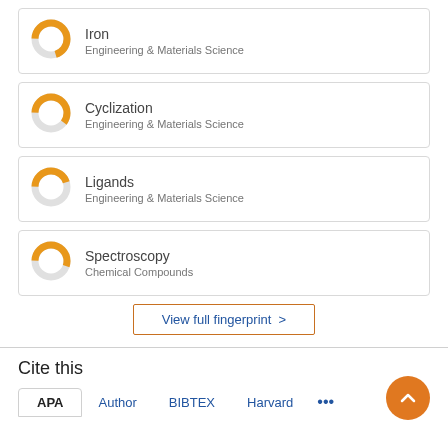[Figure (donut-chart): Donut chart for Iron, Engineering & Materials Science, approximately 70% filled orange]
Iron
Engineering & Materials Science
[Figure (donut-chart): Donut chart for Cyclization, Engineering & Materials Science, approximately 60% filled orange]
Cyclization
Engineering & Materials Science
[Figure (donut-chart): Donut chart for Ligands, Engineering & Materials Science, approximately 45% filled orange]
Ligands
Engineering & Materials Science
[Figure (donut-chart): Donut chart for Spectroscopy, Chemical Compounds, approximately 55% filled orange]
Spectroscopy
Chemical Compounds
View full fingerprint >
Cite this
APA  Author  BIBTEX  Harvard  ...